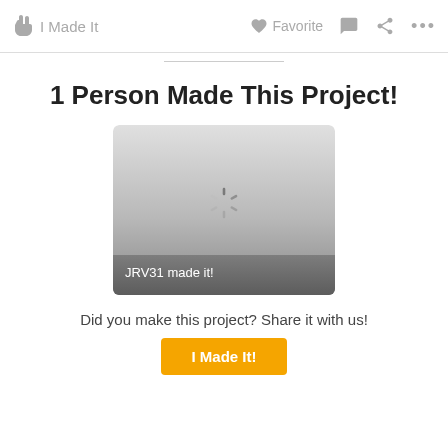I Made It | Favorite
1 Person Made This Project!
[Figure (screenshot): A loading image card with a spinner in the center and the caption 'JRV31 made it!' at the bottom, on a gray gradient background.]
Did you make this project? Share it with us!
I Made It!